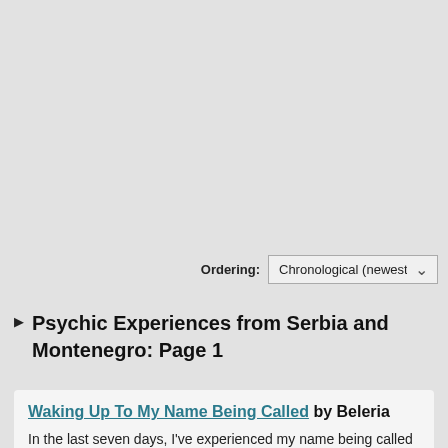Ordering:
Chronological (newest)
Psychic Experiences from Serbia and Montenegro: Page 1
Waking Up To My Name Being Called by Beleria
In the last seven days, I've experienced my name being called while I was sleeping three times. I've had lucid dreams, astral